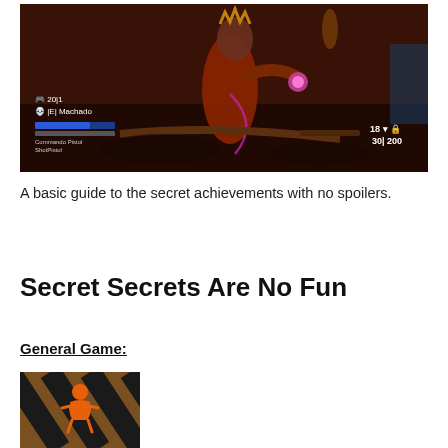[Figure (screenshot): Video game screenshot showing a female character in dark fantasy armor standing in a reddish-brown environment with HUD elements visible including health bars and player names]
A basic guide to the secret achievements with no spoilers.
Secret Secrets Are No Fun
General Game:
[Figure (screenshot): Partial screenshot showing orange and brown diagonal stripes with an orange symbol/icon in the center]